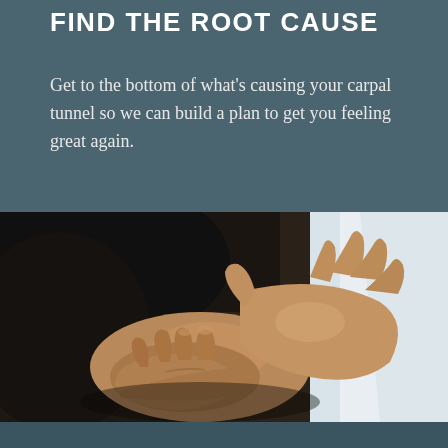FIND THE ROOT CAUSE
Get to the bottom of what's causing your carpal tunnel so we can build a plan to get you feeling great again.
[Figure (photo): Close-up photo of a person holding their wrist/hand with both hands, suggesting wrist pain or carpal tunnel discomfort. Person is wearing a dark shirt, with a bright background.]